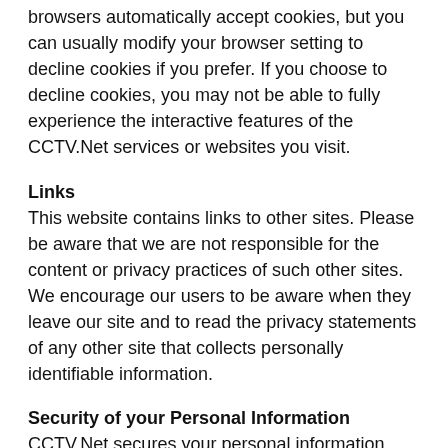browsers automatically accept cookies, but you can usually modify your browser setting to decline cookies if you prefer. If you choose to decline cookies, you may not be able to fully experience the interactive features of the CCTV.Net services or websites you visit.
Links
This website contains links to other sites. Please be aware that we are not responsible for the content or privacy practices of such other sites. We encourage our users to be aware when they leave our site and to read the privacy statements of any other site that collects personally identifiable information.
Security of your Personal Information
CCTV.Net secures your personal information from unauthorized access, use, or disclosure. CCTV.Net uses the following methods for this purpose: